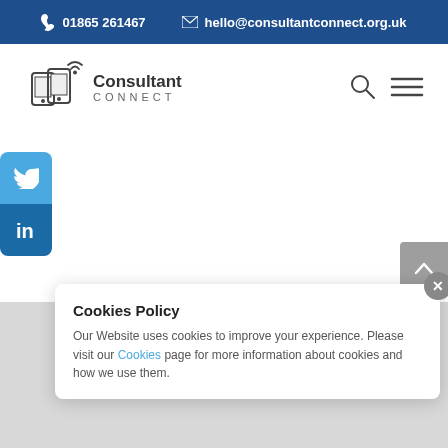01865 261467   hello@consultantconnect.org.uk
[Figure (logo): Consultant Connect logo — two mobile phones with wifi signal and text 'Consultant CONNECT']
[Figure (illustration): Search icon (magnifying glass) and hamburger menu icon in top right navigation]
[Figure (illustration): Twitter bird icon social share button (light blue rounded square)]
[Figure (illustration): LinkedIn 'in' icon social share button (dark blue rounded square)]
[Figure (illustration): Gray scroll-to-top button with upward chevron arrow on right edge]
Cookies Policy
Our Website uses cookies to improve your experience. Please visit our Cookies page for more information about cookies and how we use them.